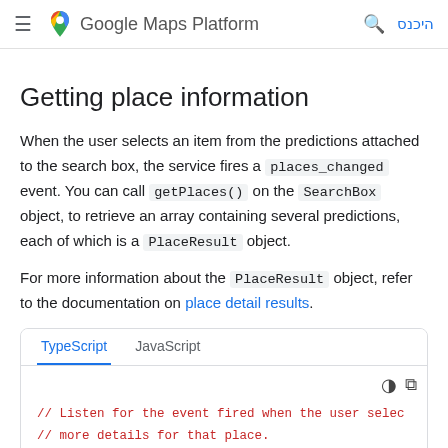Google Maps Platform — היכנס
Getting place information
When the user selects an item from the predictions attached to the search box, the service fires a places_changed event. You can call getPlaces() on the SearchBox object, to retrieve an array containing several predictions, each of which is a PlaceResult object.
For more information about the PlaceResult object, refer to the documentation on place detail results.
[Figure (screenshot): Code snippet card with TypeScript and JavaScript tabs. TypeScript tab is active (blue). Code area shows: // Listen for the event fired when the user selec / // more details for that place.]